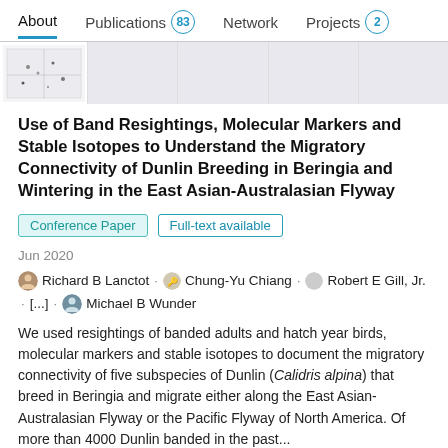About   Publications 83   Network   Projects 2
[Figure (screenshot): Row of five thumbnail images of a research paper, first showing a map/figure, others showing grey placeholders]
Use of Band Resightings, Molecular Markers and Stable Isotopes to Understand the Migratory Connectivity of Dunlin Breeding in Beringia and Wintering in the East Asian-Australasian Flyway
Conference Paper   Full-text available
Jun 2020
Richard B Lanctot · Chung-Yu Chiang · Robert E Gill, Jr. · [...] · Michael B Wunder
We used resightings of banded adults and hatch year birds, molecular markers and stable isotopes to document the migratory connectivity of five subspecies of Dunlin (Calidris alpina) that breed in Beringia and migrate either along the East Asian-Australasian Flyway or the Pacific Flyway of North America. Of more than 4000 Dunlin banded in the past...
View